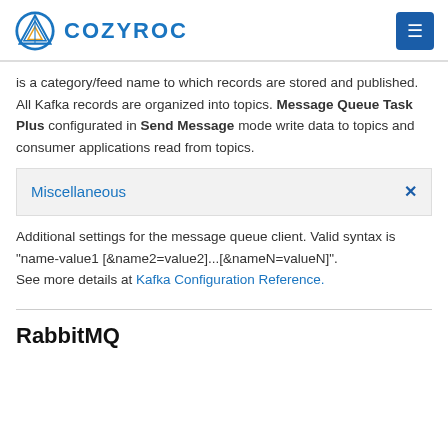COZYROC
is a category/feed name to which records are stored and published. All Kafka records are organized into topics. Message Queue Task Plus configurated in Send Message mode write data to topics and consumer applications read from topics.
Miscellaneous
Additional settings for the message queue client. Valid syntax is "name-value1 [&name2=value2]...[&nameN=valueN]". See more details at Kafka Configuration Reference.
RabbitMQ